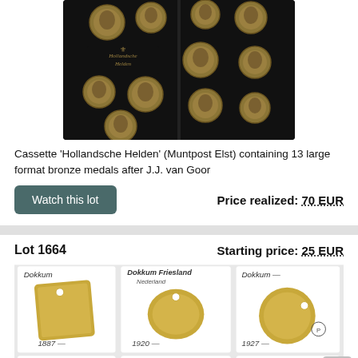[Figure (photo): A cassette case opened showing two panels each holding multiple large round bronze medals with portrait reliefs, labeled 'Hollandsche Helden']
Cassette 'Hollandsche Helden' (Muntpost Elst) containing 13 large format bronze medals after J.J. van Goor
Watch this lot
Price realized: 70 EUR
Lot 1664
Starting price: 25 EUR
[Figure (photo): Six token/medal cards labeled 'Dokkum' with years 1887, 1920, 1927 in top row and three more Dokkum tokens in bottom row, Dokkum Friesland also labeled]